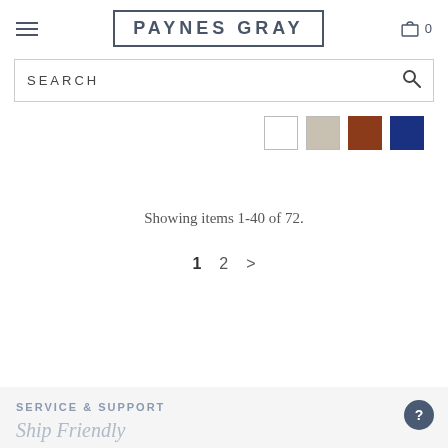PAYNES GRAY
[Figure (screenshot): Search bar with magnifying glass icon and text SEARCH]
[Figure (other): Color swatches: white, beige/gray, brown, navy blue]
Showing items 1-40 of 72.
1  2  >
SERVICE & SUPPORT
Ship Friendly